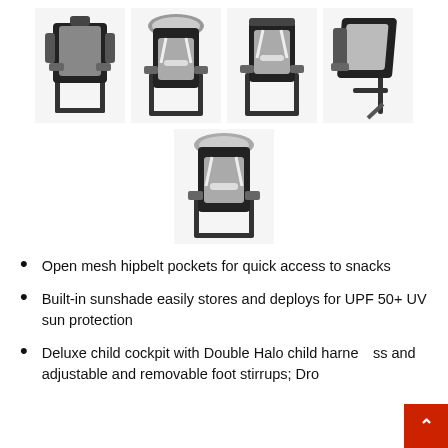[Figure (photo): Five product photos of a child backpack carrier (Osprey or similar brand) shown from different angles: back view, front view, side view, angled view (top row of four), and a single front-facing view (bottom center). The carrier is black with gray/silver accents and has a child seat with harness system, frame, and sunshade.]
Open mesh hipbelt pockets for quick access to snacks
Built-in sunshade easily stores and deploys for UPF 50+ UV sun protection
Deluxe child cockpit with Double Halo child harness and adjustable and removable foot stirrups; Dro